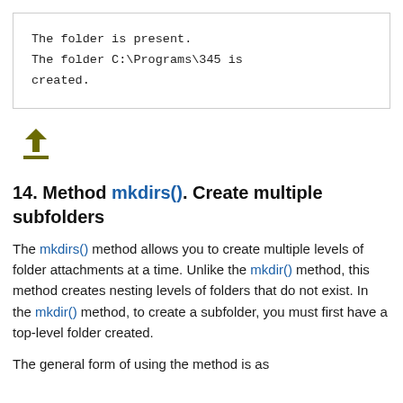The folder is present.
The folder C:\Programs\345 is created.
[Figure (other): Up arrow icon in olive/dark yellow color]
14. Method mkdirs(). Create multiple subfolders
The mkdirs() method allows you to create multiple levels of folder attachments at a time. Unlike the mkdir() method, this method creates nesting levels of folders that do not exist. In the mkdir() method, to create a subfolder, you must first have a top-level folder created.
The general form of using the method is as